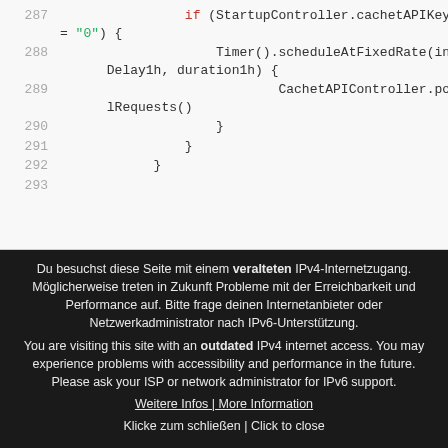[Figure (screenshot): Code snippet showing lines 287-293 of source code with syntax highlighting. Line 287: if (StartupController.cachetAPIKey != "0") {, Line 288: Timer().scheduleAtFixedRate(initDelay1h, duration1h) {, Line 289: CachetAPIController.postTotalRequests(), Line 290: }, Line 291: }, Line 292: }, Line 293: (empty)]
Du besuchst diese Seite mit einem veralteten IPv4-Internetzugang. Möglicherweise treten in Zukunft Probleme mit der Erreichbarkeit und Performance auf. Bitte frage deinen Internetanbieter oder Netzwerkadministrator nach IPv6-Unterstützung. You are visiting this site with an outdated IPv4 internet access. You may experience problems with accessibility and performance in the future. Please ask your ISP or network administrator for IPv6 support.
Weitere Infos | More Information
Klicke zum schließen | Click to close